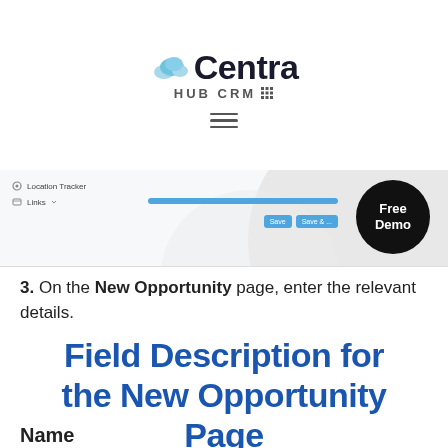[Figure (logo): Centra HUB CRM logo with cloud icon and hamburger menu]
[Figure (screenshot): Screenshot of CRM interface showing Location Tracker and Links fields with a blue progress bar and action buttons. Free Demo badge overlaid on right side.]
3. On the New Opportunity page, enter the relevant details.
Field Description for the New Opportunity Page
Name